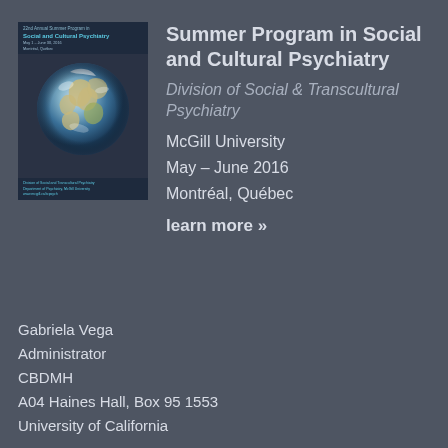[Figure (illustration): Book cover for 22nd Annual Summer Program in Social and Cultural Psychiatry, featuring an image of Earth globe on a dark background, with text and teal-colored title]
Summer Program in Social and Cultural Psychiatry
Division of Social & Transcultural Psychiatry
McGill University
May – June 2016
Montréal, Québec
learn more »
Gabriela Vega
Administrator
CBDMH
A04 Haines Hall, Box 95 1553
University of California